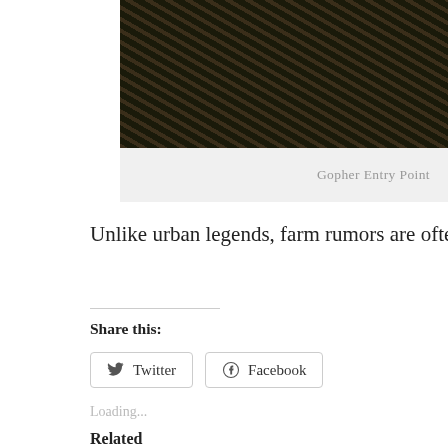[Figure (photo): Close-up photograph of dark soil with dry grass stems and plant debris, showing a gopher entry point in a farm field.]
Gopher Entry Point
Unlike urban legends, farm rumors are often true. I do believe th
Share this:
Twitter
Facebook
Loading...
Related
Taking A Breather
Summer Flush